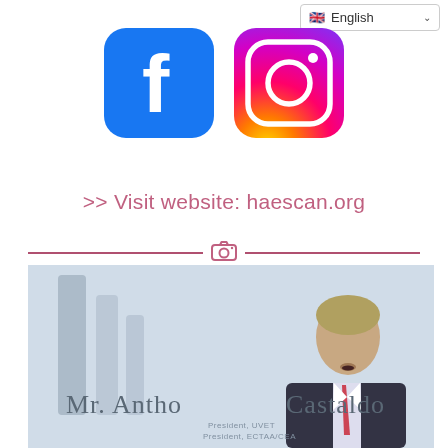[Figure (screenshot): Language selector dropdown showing English with UK flag]
[Figure (logo): Facebook logo icon - blue rounded square with white f]
[Figure (logo): Instagram logo icon - gradient rounded square with camera outline]
>> Visit website: haescan.org
[Figure (other): Horizontal divider with pink camera icon in center]
[Figure (photo): Photo of Mr. Anthony Castaldo speaking at a podium with a presentation slide visible behind him]